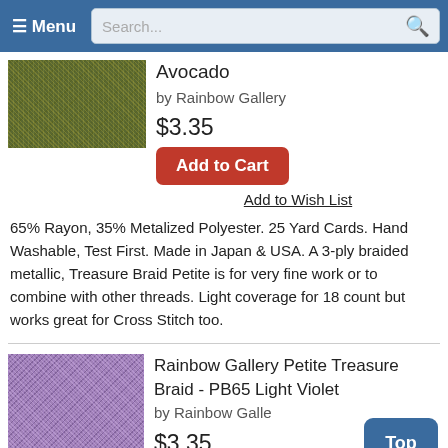Menu | Search...
[Figure (photo): Avocado green metallic braided thread close-up texture]
Avocado
by Rainbow Gallery
$3.35
Add to Cart
Add to Wish List
65% Rayon, 35% Metalized Polyester. 25 Yard Cards. Hand Washable, Test First. Made in Japan & USA. A 3-ply braided metallic, Treasure Braid Petite is for very fine work or to combine with other threads. Light coverage for 18 count but works great for Cross Stitch too.
[Figure (photo): Light violet metallic braided thread close-up texture]
Rainbow Gallery Petite Treasure Braid - PB65 Light Violet
by Rainbow Gallery
$3.35